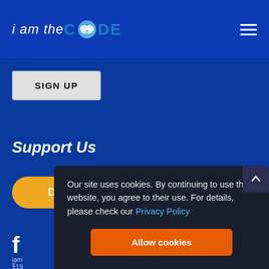i am the CODE
SIGN UP
Support Us
DONATE
[Figure (logo): Facebook icon partial]
iam
119
Our site uses cookies. By continuing to use this website, you agree to their use. For details, please check our Privacy Policy
Allow cookies
P